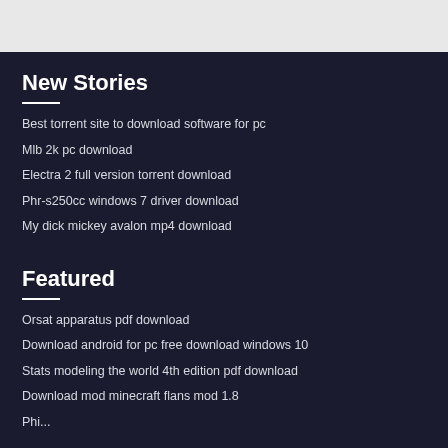New Stories
Best torrent site to download software for pc
Mlb 2k pc download
Electra 2 full version torrent download
Phr-s250cc windows 7 driver download
My dick mickey avalon mp4 download
Featured
Orsat apparatus pdf download
Download android for pc free download windows 10
Stats modeling the world 4th edition pdf download
Download mod minecraft flans mod 1.8
Phi...